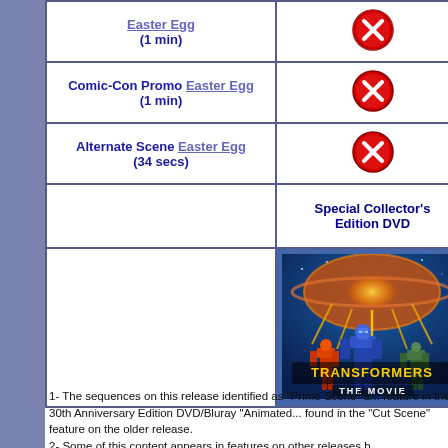| Feature | Special Collector's Edition DVD |
| --- | --- |
| Easter Egg (1 min) | [X] |
| Comic-Con Promo Easter Egg (1 min) | [X] |
| Alternate Scene Easter Egg (34 secs) | [X] |
|  | Special Collector's Edition DVD |
|  | [Transformers movie poster image] |
1- The sequences on this release identified as "Prime Scene" a... feature in the 30th Anniversary Edition DVD/Bluray "Animated... found in the "Cut Scene" feature on the older release.
2- Some of this content appears in features on other releases b...